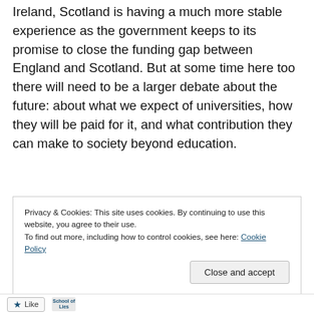Ireland, Scotland is having a much more stable experience as the government keeps to its promise to close the funding gap between England and Scotland. But at some time here too there will need to be a larger debate about the future: about what we expect of universities, how they will be paid for it, and what contribution they can make to society beyond education.
Privacy & Cookies: This site uses cookies. By continuing to use this website, you agree to their use.
To find out more, including how to control cookies, see here: Cookie Policy
Close and accept